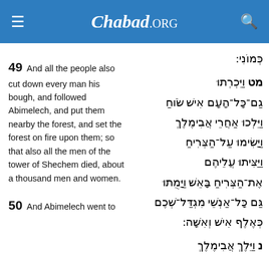Chabad.ORG
כְּמוֹנִי:
49 And all the people also cut down every man his bough, and followed Abimelech, and put them nearby the forest, and set the forest on fire upon them; so that also all the men of the tower of Shechem died, about a thousand men and women.
מט וַיִּכְרְתוּ גַם־כָּל־הָעָם אִישׁ שֹׂוחַ וַיֵּלְכוּ אַחֲרֵי אֲבִימֶלֶךְ וַיָּשִׂימוּ עַל־הַצְּרִיחַ וַיַּצִּיתוּ עֲלֵיהֶם אֶת־הַצְּרִיחַ בָּאֵשׁ וַיָּמֻתוּ גַּם כָּל־אַנְשֵׁי מִגְדַּל־שְׁכֶם כְּאֶלֶף אִישׁ וְאִשָּׁה:
50 And Abimelech went to
נ וַיֵּלֶךְ אֲבִימֶלֶךְ